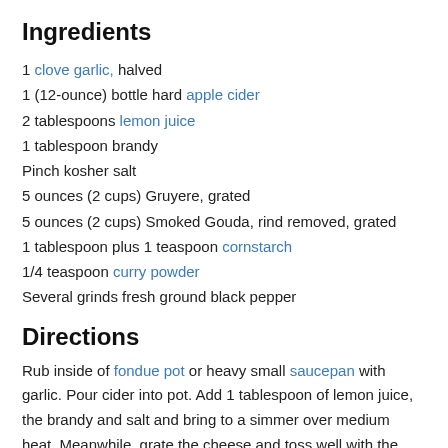Ingredients
1 clove garlic, halved
1 (12-ounce) bottle hard apple cider
2 tablespoons lemon juice
1 tablespoon brandy
Pinch kosher salt
5 ounces (2 cups) Gruyere, grated
5 ounces (2 cups) Smoked Gouda, rind removed, grated
1 tablespoon plus 1 teaspoon cornstarch
1/4 teaspoon curry powder
Several grinds fresh ground black pepper
Directions
Rub inside of fondue pot or heavy small saucepan with garlic. Pour cider into pot. Add 1 tablespoon of lemon juice, the brandy and salt and bring to a simmer over medium heat. Meanwhile, grate the cheese and toss well with the cornstarch in a large bowl. When the cider just begins to simmer, gradually add the cheese a handful at a time, allowing each addition to